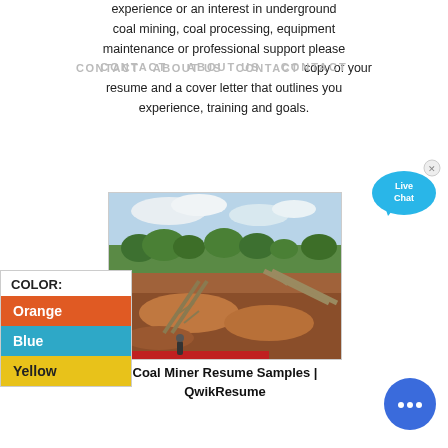experience or an interest in underground coal mining, coal processing, equipment maintenance or professional support please complete the form below and send a copy of your resume and a cover letter that outlines you experience, training and goals.
CONTACT ABOUT US CONTACT
[Figure (photo): Outdoor photo of a coal mining or mineral processing site showing excavated earth, conveyor belt structures, green trees and hills in background under cloudy sky]
Coal Miner Resume Samples | QwikResume